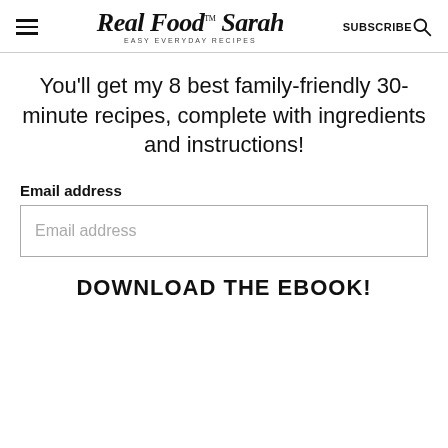Real Food with Sarah — EASY EVERYDAY RECIPES — SUBSCRIBE
You'll get my 8 best family-friendly 30-minute recipes, complete with ingredients and instructions!
Email address
Email address
DOWNLOAD THE EBOOK!